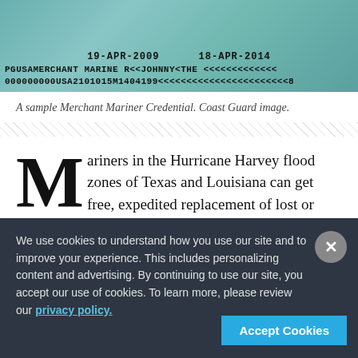[Figure (photo): A sample Merchant Mariner Credential card showing dates 19-APR-2009 and 18-APR-2014, with text PG USA MERCHANT MARINER<<JOHNNY<THE<<<<<<<<<<<<< and 000000000USA2101015M1404199<<<<<<<<<<<<<<<<<<8]
A sample Merchant Mariner Credential. Coast Guard image.
Mariners in the Hurricane Harvey flood zones of Texas and Louisiana can get free, expedited replacement of lost or destroyed Merchant Mariner Credentials, the Coast Guard National Maritime Center said Thursday.
We use cookies to understand how you use our site and to improve your experience. This includes personalizing content and advertising. By continuing to use our site, you accept our use of cookies. To learn more, please review our privacy policy.